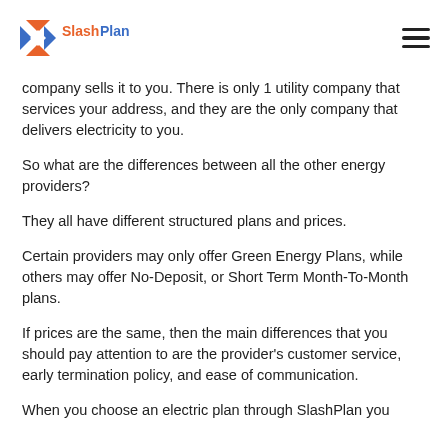SlashPlan [logo] [hamburger menu]
company sells it to you. There is only 1 utility company that services your address, and they are the only company that delivers electricity to you.
So what are the differences between all the other energy providers?
They all have different structured plans and prices.
Certain providers may only offer Green Energy Plans, while others may offer No-Deposit, or Short Term Month-To-Month plans.
If prices are the same, then the main differences that you should pay attention to are the provider’s customer service, early termination policy, and ease of communication.
When you choose an electric plan through SlashPlan you